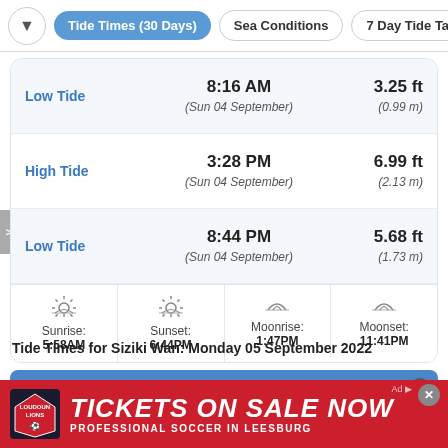Tide Times (30 Days) | Sea Conditions | 7 Day Tide Tab
| Tide | Time | Height |
| --- | --- | --- |
| Low Tide | 8:16 AM (Sun 04 September) | 3.25 ft (0.99 m) |
| High Tide | 3:28 PM (Sun 04 September) | 6.99 ft (2.13 m) |
| Low Tide | 8:44 PM (Sun 04 September) | 5.68 ft (1.73 m) |
| Sunrise | Sunset | Moonrise | Moonset |
| --- | --- | --- | --- |
| 5:58AM | 6:44PM | 1:47PM | 11:41PM |
Tide Times for Siziki Wan: Monday 05 September 2022
[Figure (screenshot): Next table header showing Time (JST) column with close button]
[Figure (photo): Advertisement banner: Loudoun Lions soccer - TICKETS ON SALE NOW - PROFESSIONAL SOCCER IN LEESBURG]